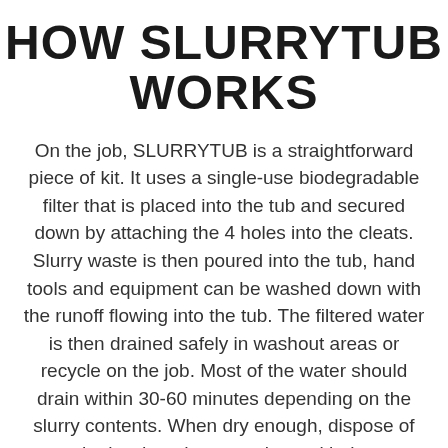HOW SLURRYTUB WORKS
On the job, SLURRYTUB is a straightforward piece of kit. It uses a single-use biodegradable filter that is placed into the tub and secured down by attaching the 4 holes into the cleats. Slurry waste is then poured into the tub, hand tools and equipment can be washed down with the runoff flowing into the tub. The filtered water is then drained safely in washout areas or recycle on the job. Most of the water should drain within 30-60 minutes depending on the slurry contents. When dry enough, dispose of the hardened waste, along with the biodegradable filter into the work site skip at the end of the day. Way too easy!